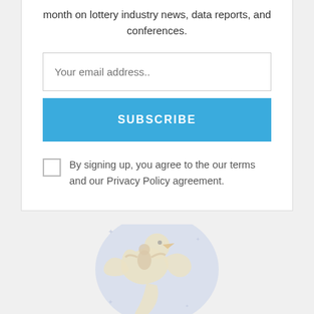month on lottery industry news, data reports, and conferences.
Your email address..
SUBSCRIBE
By signing up, you agree to the our terms and our Privacy Policy agreement.
[Figure (illustration): A faded blue and yellow illustration of a person riding or holding a flying bird/creature, appearing to be a logo or mascot graphic.]